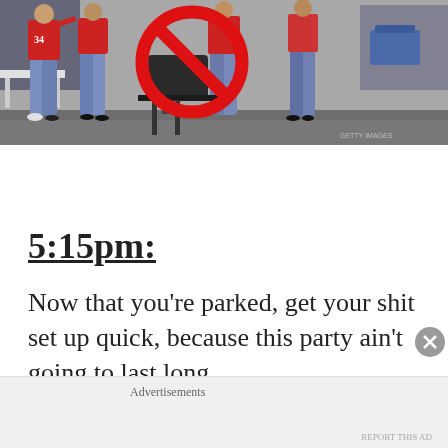[Figure (photo): Outdoor tailgate scene in a parking lot. People in red sports jerseys and jeans stand near a barbecue grill. A large red prohibition/no symbol (circle with diagonal slash) is overlaid on the grill, indicating no grilling allowed. A car and coolers are visible in the background.]
5:15pm:
Now that you're parked, get your shit set up quick, because this party ain't going to last long
Advertisements